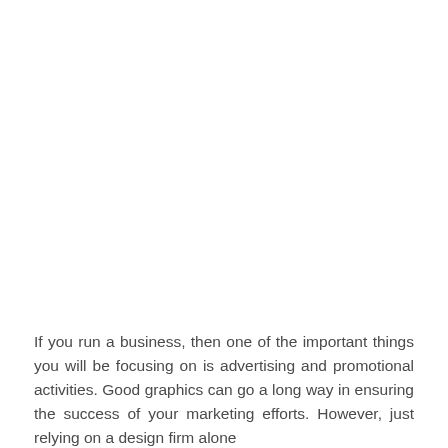If you run a business, then one of the important things you will be focusing on is advertising and promotional activities. Good graphics can go a long way in ensuring the success of your marketing efforts. However, just relying on a design firm alone